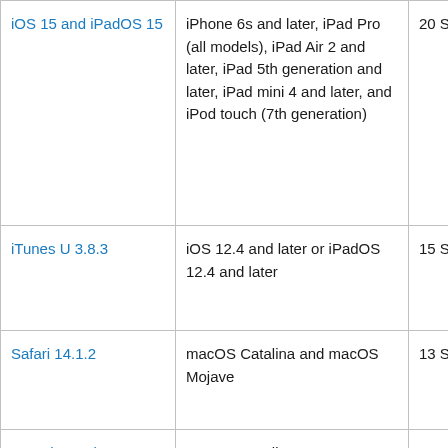| Name | Compatibility | Date |
| --- | --- | --- |
| iOS 15 and iPadOS 15 | iPhone 6s and later, iPad Pro (all models), iPad Air 2 and later, iPad 5th generation and later, iPad mini 4 and later, and iPod touch (7th generation) | 20 S |
| iTunes U 3.8.3 | iOS 12.4 and later or iPadOS 12.4 and later | 15 S |
| Safari 14.1.2 | macOS Catalina and macOS Mojave | 13 S |
| Security Update 2021-005 Catalina | macOS Catalina | 13 S |
| macOS Big Sur 11.6 | macOS Big Sur | 13 S |